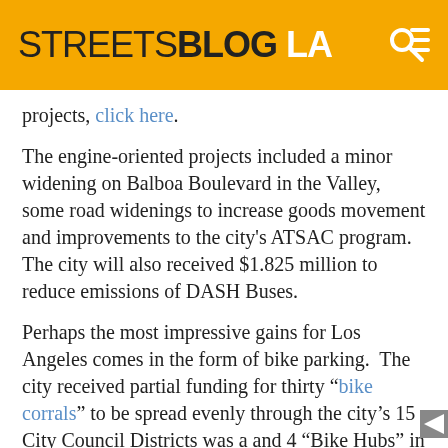STREETSBLOG LA
projects, click here.
The engine-oriented projects included a minor widening on Balboa Boulevard in the Valley, some road widenings to increase goods movement and improvements to the city's ATSAC program.  The city will also received $1.825 million to reduce emissions of DASH Buses.
Perhaps the most impressive gains for Los Angeles comes in the form of bike parking.  The city received partial funding for thirty “bike corrals” to be spread evenly through the city’s 15 City Council Districts was a and 4 “Bike Hubs” in South L.A. to service the Expo Line.  The Bike Corrals will create 360 new bike parking spaces throughout the city and the hubs.